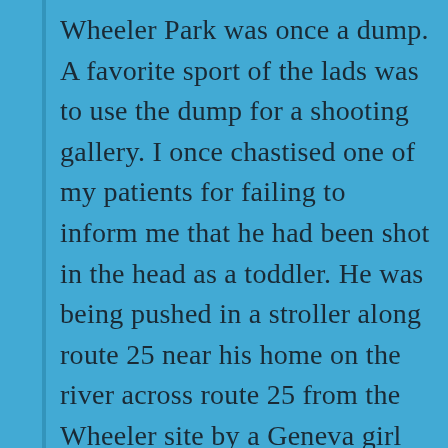Wheeler Park was once a dump. A favorite sport of the lads was to use the dump for a shooting gallery. I once chastised one of my patients for failing to inform me that he had been shot in the head as a toddler. He was being pushed in a stroller along route 25 near his home on the river across route 25 from the Wheeler site by a Geneva girl of about fourteen. I only learned of the shooting when he met his stroller pusher in the reception room of my office about 10 years ago. Fortunately, the bullet was near spent and it bounced off the stroller before it raised a welt on his head. The toddler was the grandson of a famous Chicago